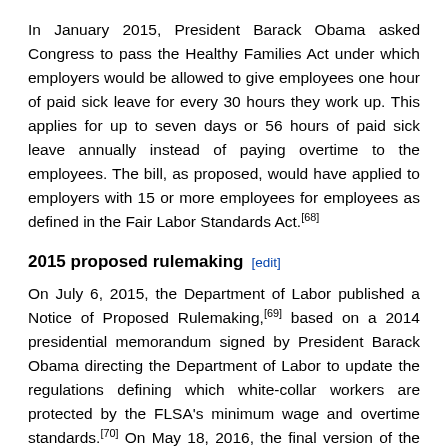In January 2015, President Barack Obama asked Congress to pass the Healthy Families Act under which employers would be allowed to give employees one hour of paid sick leave for every 30 hours they work up. This applies for up to seven days or 56 hours of paid sick leave annually instead of paying overtime to the employees. The bill, as proposed, would have applied to employers with 15 or more employees for employees as defined in the Fair Labor Standards Act.[68]
2015 proposed rulemaking [edit]
On July 6, 2015, the Department of Labor published a Notice of Proposed Rulemaking,[69] based on a 2014 presidential memorandum signed by President Barack Obama directing the Department of Labor to update the regulations defining which white-collar workers are protected by the FLSA's minimum wage and overtime standards.[70] On May 18, 2016, the final version of the rule was published,[70] which would require that employees earning a salary of less than $913 per week would be paid overtime, effective December 1, 2016,[70] and the threshold would be automatically adjusted every three years beginning January 1, 2020.[70]